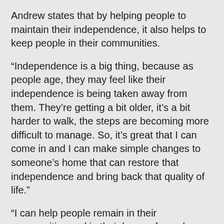Andrew states that by helping people to maintain their independence, it also helps to keep people in their communities.
“Independence is a big thing, because as people age, they may feel like their independence is being taken away from them. They’re getting a bit older, it’s a bit harder to walk, the steps are becoming more difficult to manage. So, it’s great that I can come in and I can make simple changes to someone’s home that can restore that independence and bring back that quality of life.”
“I can help people remain in their communities and in their homes for as long as possible. It’s very rewarding keeping people on country with the areas that I work in up in the Cape, so they can remain in their community with their loved ones,” says Andrew.
After finishing high school Andrew says he was unsure